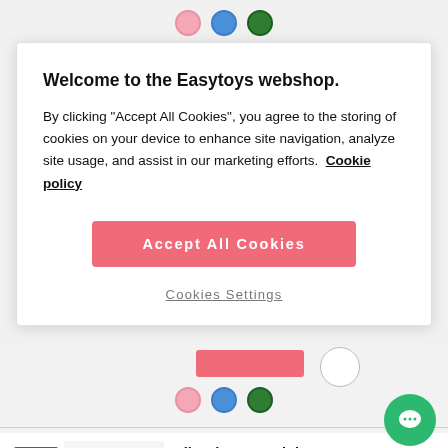[Figure (other): Three color selector dots (pink, blue, dark green) at top of page]
Welcome to the Easytoys webshop.
By clicking "Accept All Cookies", you agree to the storing of cookies on your device to enhance site navigation, analyze site usage, and assist in our marketing efforts.  Cookie policy
Accept All Cookies
Cookies Settings
[Figure (other): Partially visible pink bar and circle arrow button below cookie modal]
[Figure (other): Three color selector dots (pink, blue, dark green) repeated below modal]
-58%
Vibration Egg Pink - E
★★★★☆ (321)
£32.45  £13.66